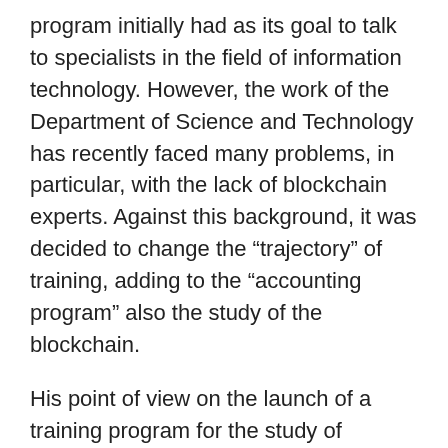program initially had as its goal to talk to specialists in the field of information technology. However, the work of the Department of Science and Technology has recently faced many problems, in particular, with the lack of blockchain experts. Against this background, it was decided to change the “trajectory” of training, adding to the “accounting program” also the study of the blockchain.
His point of view on the launch of a training program for the study of distributed ledger technology, reports Cointelegraph, was expressed by the Minister of Science and Technology of the Philippines Fortunato dela Peña.
“The Philippines must move forward. Blockchain is a modern and very necessary technology that needs to be developed in the country, “the man summed up.